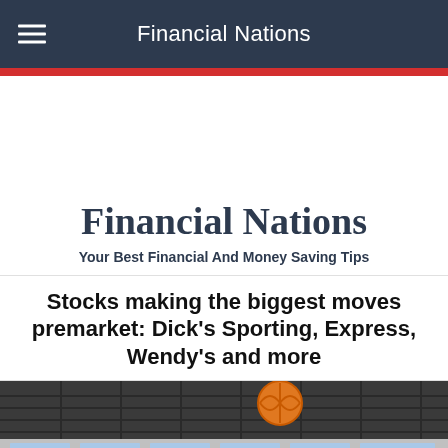Financial Nations
Financial Nations
Your Best Financial And Money Saving Tips
Stocks making the biggest moves premarket: Dick's Sporting, Express, Wendy's and more
[Figure (photo): Exterior photo of a sporting goods store building with a basketball logo visible on the facade]